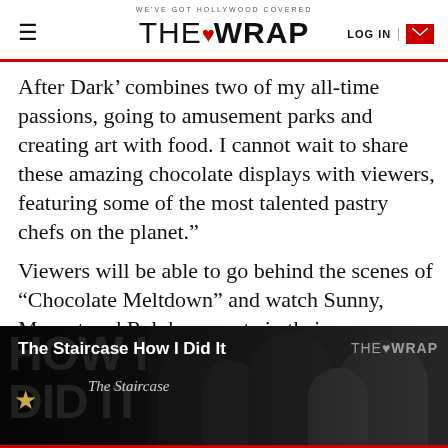WE'VE GOT HOLLYWOOD COVERED — THE WRAP — LOG IN
After Dark’ combines two of my all-time passions, going to amusement parks and creating art with food. I cannot wait to share these amazing chocolate displays with viewers, featuring some of the most talented pastry chefs on the planet.”
Viewers will be able to go behind the scenes of “Chocolate Meltdown” and watch Sunny, Maneet and Ralph compete in their own chocolate-themed challenges at FoodNetwork.com/HersheysAfterDark.
[Figure (screenshot): Banner advertisement for 'The Staircase How I Did It' on TheWrap, showing dark background with crowd silhouettes and TheWrap logo]